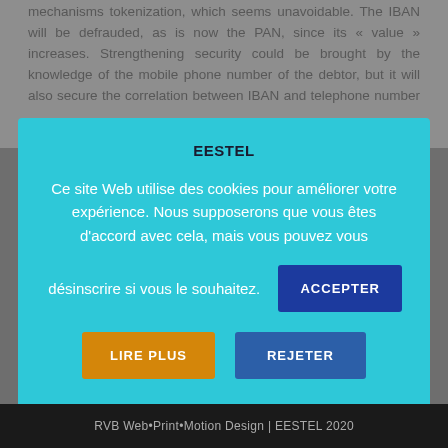mechanisms tokenization, which seems unavoidable. The IBAN will be defrauded, as is now the PAN, since its « value » increases. Strengthening security could be brought by the knowledge of the mobile phone number of the debtor, but it will also secure the correlation between IBAN and telephone number ...
You are a member EESTEL? Presentations materials are
EESTEL
Ce site Web utilise des cookies pour améliorer votre expérience. Nous supposerons que vous êtes d'accord avec cela, mais vous pouvez vous désinscrire si vous le souhaitez.
ACCEPTER
LIRE PLUS
REJETER
RVB Web•Print•Motion Design | EESTEL 2020